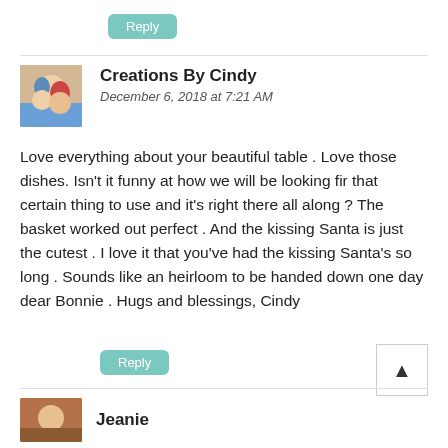Reply
Creations By Cindy
December 6, 2018 at 7:21 AM
Love everything about your beautiful table . Love those dishes. Isn't it funny at how we will be looking fir that certain thing to use and it's right there all along ? The basket worked out perfect . And the kissing Santa is just the cutest . I love it that you've had the kissing Santa's so long . Sounds like an heirloom to be handed down one day dear Bonnie . Hugs and blessings, Cindy
Reply
Jeanie